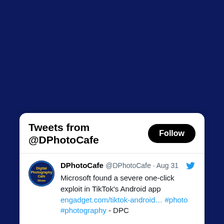[Figure (screenshot): Twitter/X widget showing tweets from @DPhotoCafe. Header says 'Tweets from @DPhotoCafe' with a Follow button. Below is a tweet from DPhotoCafe @DPhotoCafe dated Aug 31 with avatar logo, Twitter bird icon, and text: 'Microsoft found a severe one-click exploit in TikTok's Android app engadget.com/tiktok-android… #photo #photography - DPC']